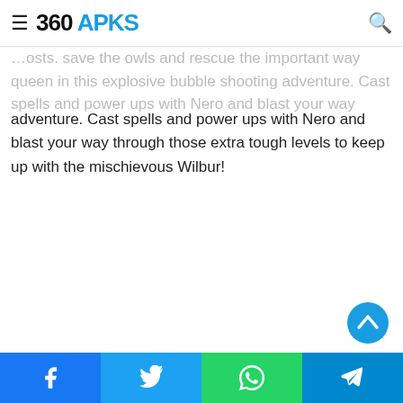360 APKS
adventure. Cast spells and power ups with Nero and blast your way through those extra tough levels to keep up with the mischievous Wilbur!
[Figure (screenshot): Scroll-to-top circular button with upward chevron icon in blue]
Share buttons: Facebook, Twitter, WhatsApp, Telegram